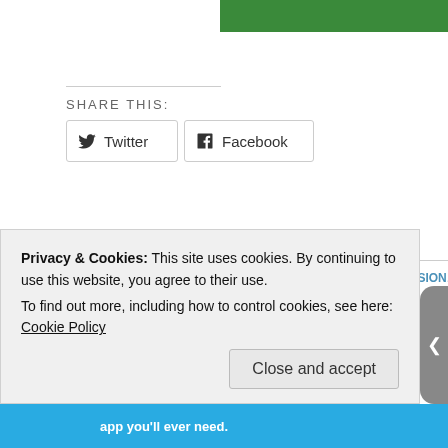[Figure (other): Green banner bar at top right]
SHARE THIS:
Twitter
Facebook
POSTED IN LIFE, PERSONAL | TAGGED BLOGGING, DEPRESSION, FRIEND... RELATIONSHIPS, UNHAPPINESS
ONE THOUGHT ON "GOING AWOL"
Privacy & Cookies: This site uses cookies. By continuing to use this website, you agree to their use.
To find out more, including how to control cookies, see here: Cookie Policy
Close and accept